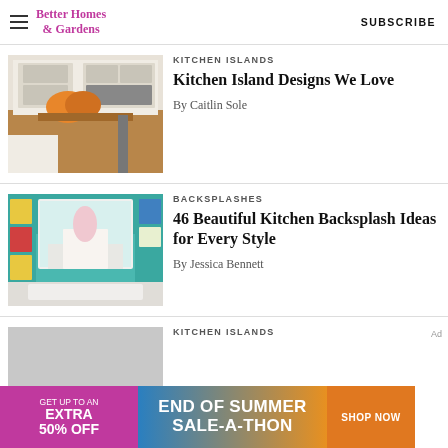Better Homes & Gardens | SUBSCRIBE
[Figure (photo): Kitchen interior with white cabinets, wooden island countertop, and orange flowers]
KITCHEN ISLANDS
Kitchen Island Designs We Love
By Caitlin Sole
[Figure (photo): Kitchen backsplash with teal mosaic tiles, white sink, and colorful bowls on shelves]
BACKSPLASHES
46 Beautiful Kitchen Backsplash Ideas for Every Style
By Jessica Bennett
[Figure (photo): Gray placeholder thumbnail for third article]
KITCHEN ISLANDS
[Figure (infographic): Advertisement banner: GET UP TO AN EXTRA 50% OFF / END OF SUMMER SALE-A-THON / SHOP NOW]